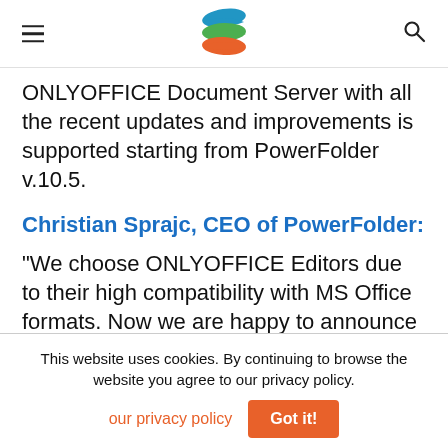[logo] [hamburger menu] [search icon]
ONLYOFFICE Document Server with all the recent updates and improvements is supported starting from PowerFolder v.10.5.
Christian Sprajc, CEO of PowerFolder:
“We choose ONLYOFFICE Editors due to their high compatibility with MS Office formats. Now we are happy to announce that, as the integration is completed, work with
This website uses cookies. By continuing to browse the website you agree to our privacy policy.
our privacy policy   Got it!